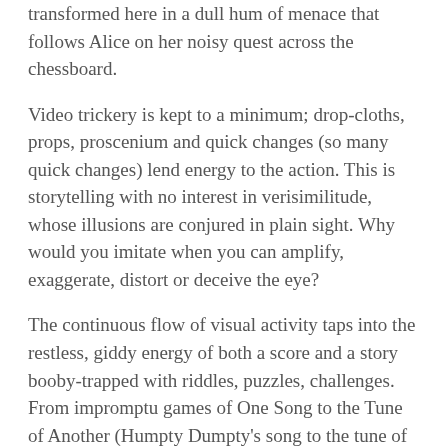transformed here in a dull hum of menace that follows Alice on her noisy quest across the chessboard.
Video trickery is kept to a minimum; drop-cloths, props, proscenium and quick changes (so many quick changes) lend energy to the action. This is storytelling with no interest in verisimilitude, whose illusions are conjured in plain sight. Why would you imitate when you can amplify, exaggerate, distort or deceive the eye?
The continuous flow of visual activity taps into the restless, giddy energy of both a score and a story booby-trapped with riddles, puzzles, challenges. From impromptu games of One Song to the Tune of Another (Humpty Dumpty's song to the tune of Beethoven's Ode to Joy, Jabberwocky to the tune of It's a Long Way to Tipperary) to a croquet match collided with a polyglot piano lesson and a dizzying descent down the rabbit-hole set against a stratospheric